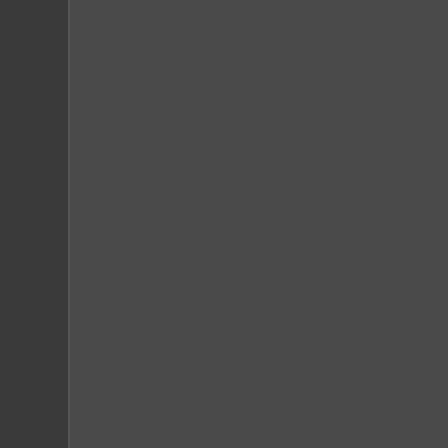What do you do if someone you c... make the decision to quit? You o... getting help but are too embarrass... about getting in trouble. The good... one of your friends. The best pla... someone to listen is one of the fi... though it might be hard getting star...
Generalization of Nationa... Dadeville, Alabama in the...
Ages between 12 and 17
Any Illicit Drug
Marijuana / Hash
Cocaine
Crack/Cocaine
Heroin
LSD
PCP
Ecstasy/MDMA
Inhalants
Pain Medication
Tranquilizers
Stimulants
Methamphetamine
Sedatives
Ages between 18 and 25
Any Illicit Drug
Marijuana / Hash
Cocaine